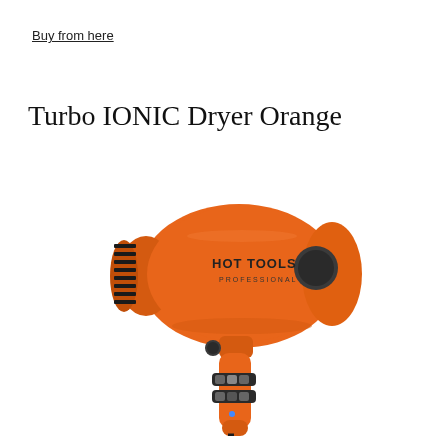Buy from here
Turbo IONIC Dryer Orange
[Figure (photo): Orange Hot Tools Professional Turbo IONIC hair dryer with black intake grille on left side, dark circular button on body, two sets of switch controls on handle, and black cord coming from bottom of handle. The dryer body is a vibrant orange color with 'HOT TOOLS PROFESSIONAL' text on the side.]